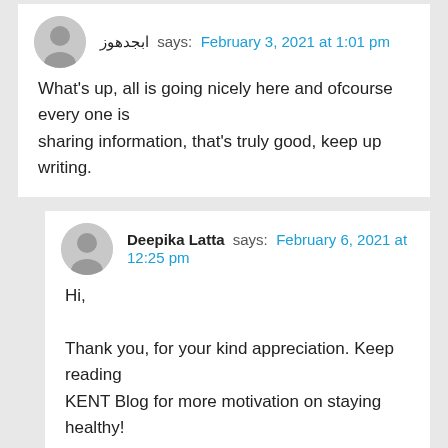aaaaaaa says: February 3, 2021 at 1:01 pm
What's up, all is going nicely here and ofcourse every one is sharing information, that's truly good, keep up writing.
Deepika Latta says: February 6, 2021 at 12:25 pm
Hi,

Thank you, for your kind appreciation. Keep reading KENT Blog for more motivation on staying healthy!

Regards,
Team Kent